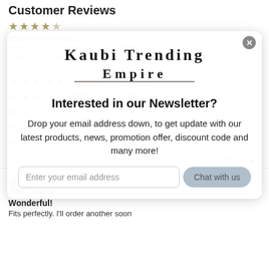Customer Reviews
Based on 6 reviews
Write a review
5 stars: 67% (4), 4 stars: 33% (2), 3 stars: 0% (0), 2 stars: 0% (0), 1 star: 0% (0)
Most Recent
04/09/2022
Frank
Wonderful!
Fits perfectly. I'll order another soon
[Figure (logo): Kaubi Trending Empire logo with decorative serif lettering and ornamental flourishes]
Interested in our Newsletter?
Drop your email address down, to get update with our latest products, news, promotion offer, discount code and many more!
Enter your email address
Chat with us